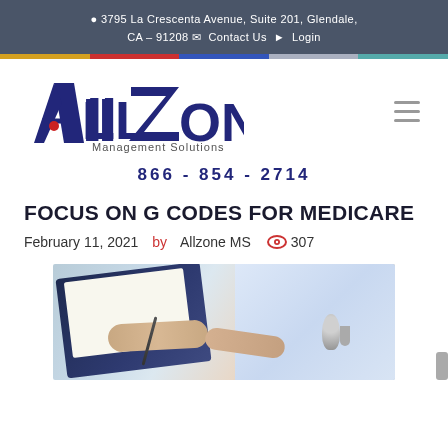9 3795 La Crescenta Avenue, Suite 201, Glendale, CA – 91208 Contact Us Login
[Figure (logo): AllZone Management Solutions logo with stylized A and Z letters in dark blue/navy, red dot accent, and tagline 'Management Solutions']
866 - 854 - 2714
FOCUS ON G CODES FOR MEDICARE
February 11, 2021  by  Allzone MS  307
[Figure (photo): Doctor in white coat with stethoscope writing on clipboard with pen, patient hand visible]